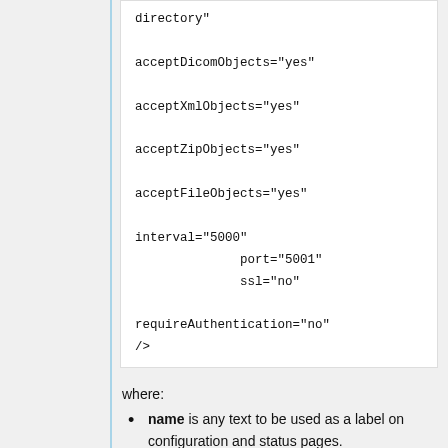directory"
  acceptDicomObjects="yes"
  acceptXmlObjects="yes"
  acceptZipObjects="yes"
  acceptFileObjects="yes"
  interval="5000"
              port="5001"
              ssl="no"
  requireAuthentication="no"
/>
where:
name is any text to be used as a label on configuration and status pages.
id is any text to be used to uniquely identify the...